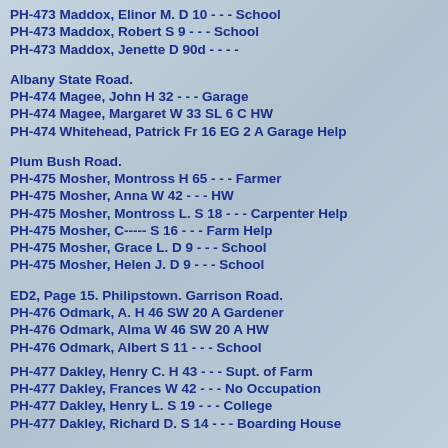PH-473 Maddox, Elinor M. D 10 - - - School
PH-473 Maddox, Robert S 9 - - - School
PH-473 Maddox, Jenette D 90d - - - -
Albany State Road.
PH-474 Magee, John H 32 - - - Garage
PH-474 Magee, Margaret W 33 SL 6 C HW
PH-474 Whitehead, Patrick Fr 16 EG 2 A Garage Help
Plum Bush Road.
PH-475 Mosher, Montross H 65 - - - Farmer
PH-475 Mosher, Anna W 42 - - - HW
PH-475 Mosher, Montross L. S 18 - - - Carpenter Help
PH-475 Mosher, C----- S 16 - - - Farm Help
PH-475 Mosher, Grace L. D 9 - - - School
PH-475 Mosher, Helen J. D 9 - - - School
ED2, Page 15. Philipstown. Garrison Road.
PH-476 Odmark, A. H 46 SW 20 A Gardener
PH-476 Odmark, Alma W 46 SW 20 A HW
PH-476 Odmark, Albert S 11 - - - School
PH-477 Dakley, Henry C. H 43 - - - Supt. of Farm
PH-477 Dakley, Frances W 42 - - - No Occupation
PH-477 Dakley, Henry L. S 19 - - - College
PH-477 Dakley, Richard D. S 14 - - - Boarding House